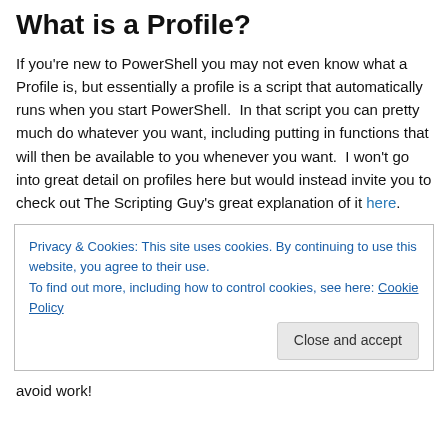What is a Profile?
If you’re new to PowerShell you may not even know what a Profile is, but essentially a profile is a script that automatically runs when you start PowerShell.  In that script you can pretty much do whatever you want, including putting in functions that will then be available to you whenever you want.  I won’t go into great detail on profiles here but would instead invite you to check out The Scripting Guy’s great explanation of it here.
Privacy & Cookies: This site uses cookies. By continuing to use this website, you agree to their use.
To find out more, including how to control cookies, see here: Cookie Policy
Close and accept
avoid work!